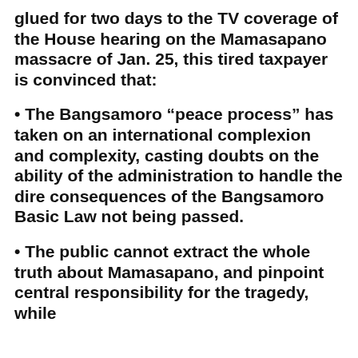glued for two days to the TV coverage of the House hearing on the Mamasapano massacre of Jan. 25, this tired taxpayer is convinced that:
• The Bangsamoro “peace process” has taken on an international complexion and complexity, casting doubts on the ability of the administration to handle the dire consequences of the Bangsamoro Basic Law not being passed.
• The public cannot extract the whole truth about Mamasapano, and pinpoint central responsibility for the tragedy, while